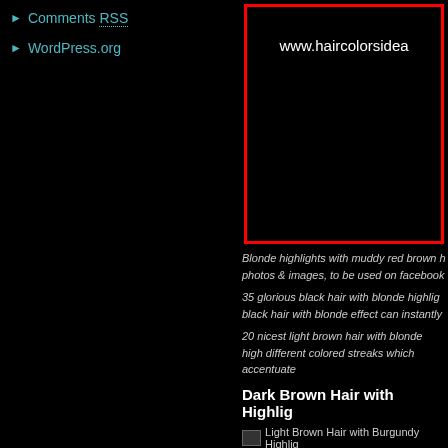Comments RSS
WordPress.org
[Figure (screenshot): Black box with red border showing partial URL www.haircolorsidea... on black background]
Blonde highlights with muddy red brown h... photos & images, to be used on facebook...
35 glorious black hair with blonde highlig... black hair with blonde effect can instantly...
20 nicest light brown hair with blonde high... different colored streaks which accentuate...
Dark Brown Hair with Highlig...
[Figure (photo): Light Brown Hair with Burgundy Highlig... broken/loading image]